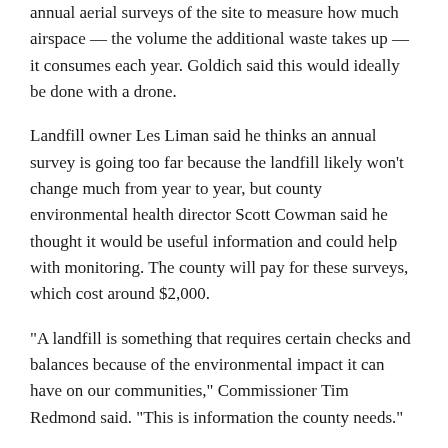annual aerial surveys of the site to measure how much airspace — the volume the additional waste takes up — it consumes each year. Goldich said this would ideally be done with a drone.
Landfill owner Les Liman said he thinks an annual survey is going too far because the landfill likely won't change much from year to year, but county environmental health director Scott Cowman said he thought it would be useful information and could help with monitoring. The county will pay for these surveys, which cost around $2,000.
“A landfill is something that requires certain checks and balances because of the environmental impact it can have on our communities,” Commissioner Tim Redmond said. “This is information the county needs.”
To reach Dylan Anderson, call 970-871-4247 or email danderson@SteamboatPilot.com.